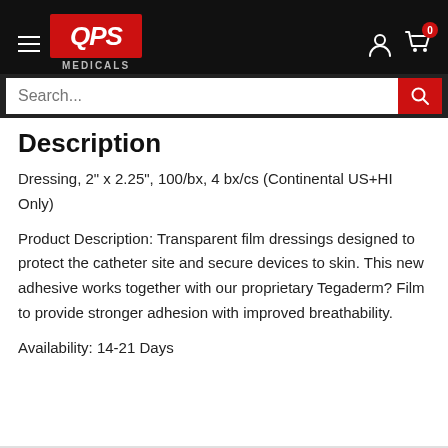QPS MEDICALS — navigation header with search bar
Description
Dressing, 2" x 2.25", 100/bx, 4 bx/cs (Continental US+HI Only)
Product Description: Transparent film dressings designed to protect the catheter site and secure devices to skin. This new adhesive works together with our proprietary Tegaderm? Film to provide stronger adhesion with improved breathability.
Availability: 14-21 Days